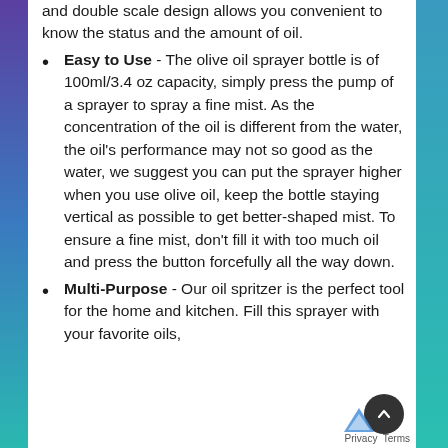and double scale design allows you convenient to know the status and the amount of oil.
Easy to Use - The olive oil sprayer bottle is of 100ml/3.4 oz capacity, simply press the pump of a sprayer to spray a fine mist. As the concentration of the oil is different from the water, the oil's performance may not so good as the water, we suggest you can put the sprayer higher when you use olive oil, keep the bottle staying vertical as possible to get better-shaped mist. To ensure a fine mist, don't fill it with too much oil and press the button forcefully all the way down.
Multi-Purpose - Our oil spritzer is the perfect tool for the home and kitchen. Fill this sprayer with your favorite oils,